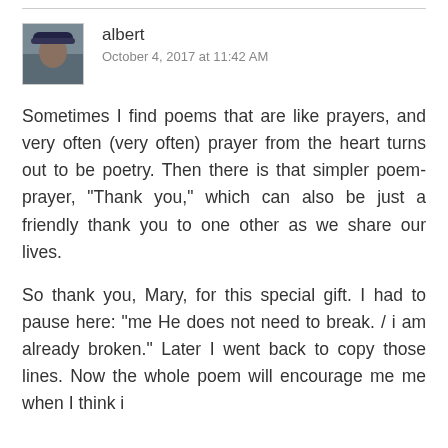albert
October 4, 2017 at 11:42 AM
Sometimes I find poems that are like prayers, and very often (very often) prayer from the heart turns out to be poetry. Then there is that simpler poem-prayer, "Thank you," which can also be just a friendly thank you to one other as we share our lives.
So thank you, Mary, for this special gift. I had to pause here: "me He does not need to break. / i am already broken." Later I went back to copy those lines. Now the whole poem will encourage me me when I think i